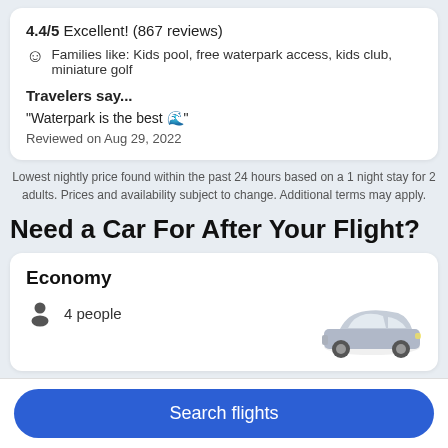4.4/5 Excellent! (867 reviews)
Families like: Kids pool, free waterpark access, kids club, miniature golf
Travelers say...
"Waterpark is the best 🌊"
Reviewed on Aug 29, 2022
Lowest nightly price found within the past 24 hours based on a 1 night stay for 2 adults. Prices and availability subject to change. Additional terms may apply.
Need a Car For After Your Flight?
Economy
4 people
[Figure (photo): Silver economy car (hatchback)]
Search flights